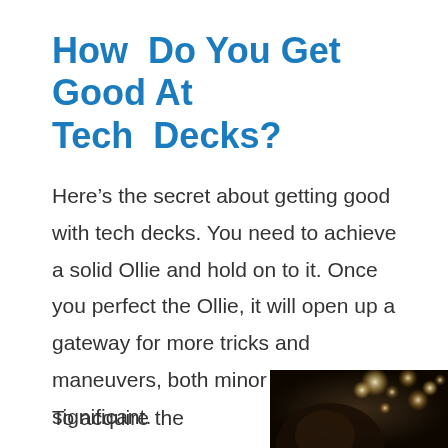How Do You Get Good At Tech Decks?
Here's the secret about getting good with tech decks. You need to achieve a solid Ollie and hold on to it. Once you perfect the Ollie, it will open up a gateway for more tricks and maneuvers, both minor and significant.
To acquire the
[Figure (photo): A dark, bokeh-lit photo showing a person with blurred circular lights in the background, likely demonstrating a tech deck or fingerboard trick.]